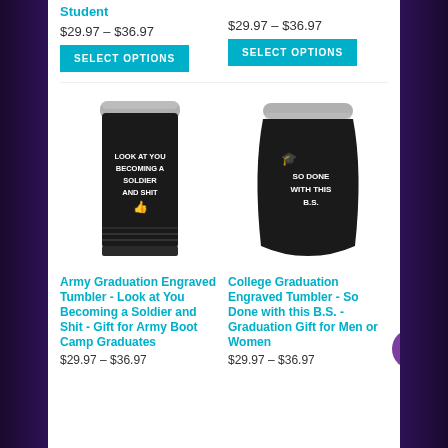Student
$29.97 – $36.97
SELECT OPTIONS
$29.97 – $36.97
SELECT OPTIONS
[Figure (photo): Black tumbler mug engraved with 'LOOK AT YOU BECOMING A SOLDIER AND SHIT' with thumbs up icon]
[Figure (photo): Black stemless wine tumbler engraved with 'SO DONE WITH THIS B.S.' with graduation cap icon]
Army Graduation Engraved Tumbler - Look at You Becoming a Soldier and Shit - Gift for Army Boot Camp Graduates
College Graduation Engraved Tumbler - So Done with this B.S. - Graduation Gift for Men or Women
$29.97 – $36.97
$29.97 – $36.97